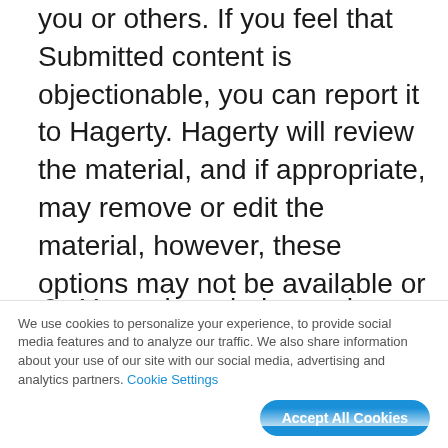you or others. If you feel that Submitted content is objectionable, you can report it to Hagerty. Hagerty will review the material, and if appropriate, may remove or edit the material, however, these options may not be available or may not occur immediately.
9.  You acknowledge and agree that you have no ownership claim in any compilation of data or information that is created by Hagerty...
We use cookies to personalize your experience, to provide social media features and to analyze our traffic. We also share information about your use of our site with our social media, advertising and analytics partners. Cookie Settings